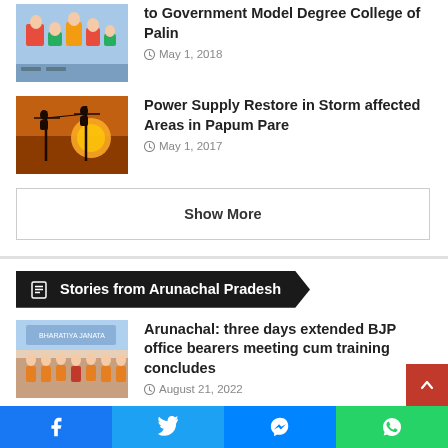[Figure (photo): Students in a classroom with colorful chairs]
to Government Model Degree College of Palin
May 1, 2018
[Figure (photo): Silhouettes of workers on power lines at sunset]
Power Supply Restore in Storm affected Areas in Papum Pare
May 1, 2017
Show More
Stories from Arunachal Pradesh
[Figure (photo): Group photo of BJP office bearers in saffron scarves]
Arunachal: three days extended BJP office bearers meeting cum training concludes
August 21, 2022